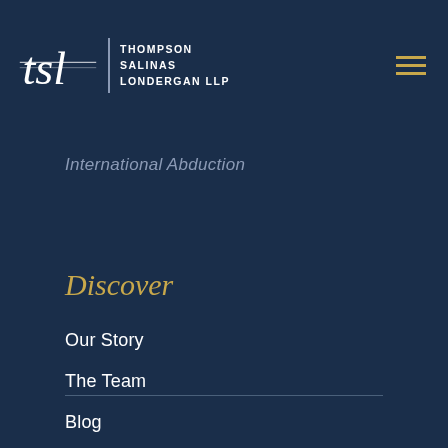[Figure (logo): Thompson Salinas Londergan LLP law firm logo with stylized 'tsl' monogram and firm name text]
International Abduction
Discover
Our Story
The Team
Blog
Pay Online
Contact Us